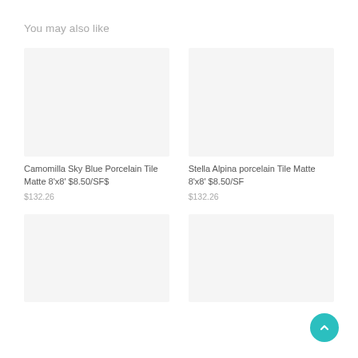You may also like
[Figure (photo): Light gray placeholder image for Camomilla Sky Blue Porcelain Tile product]
Camomilla Sky Blue Porcelain Tile Matte 8'x8' $8.50/SF$
$132.26
[Figure (photo): Light gray placeholder image for Stella Alpina porcelain Tile product]
Stella Alpina porcelain Tile Matte 8'x8' $8.50/SF
$132.26
[Figure (photo): Light gray placeholder image for third product (bottom left)]
[Figure (photo): Light gray placeholder image for fourth product (bottom right)]